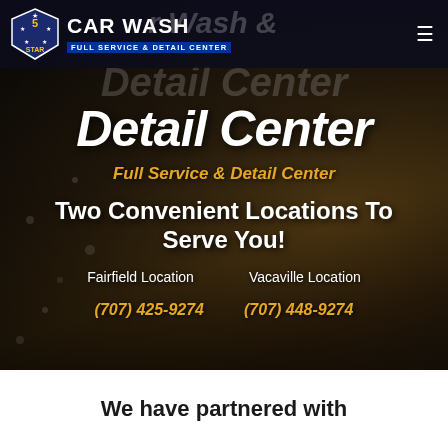[Figure (photo): Car wash website screenshot with dark background showing a car being washed, featuring the 5 Star Car Wash logo, navigation, and location/phone information overlay.]
Detail Center
Full Service & Detail Center
Two Convenient Locations To Serve You!
Fairfield Location    Vacaville Location
(707) 425-9274    (707) 448-9274
We have partnered with